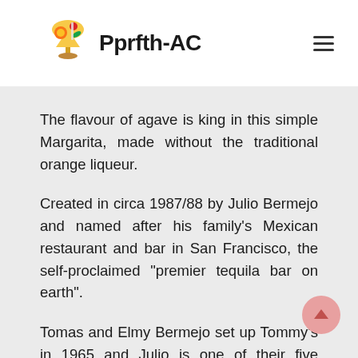Pprfth-AC
The flavour of agave is king in this simple Margarita, made without the traditional orange liqueur.
Created in circa 1987/88 by Julio Bermejo and named after his family's Mexican restaurant and bar in San Francisco, the self-proclaimed "premier tequila bar on earth".
Tomas and Elmy Bermejo set up Tommy's in 1965 and Julio is one of their five children, all of which are involved in what is truly a family business. Julio has become a legend in the drinks industry for